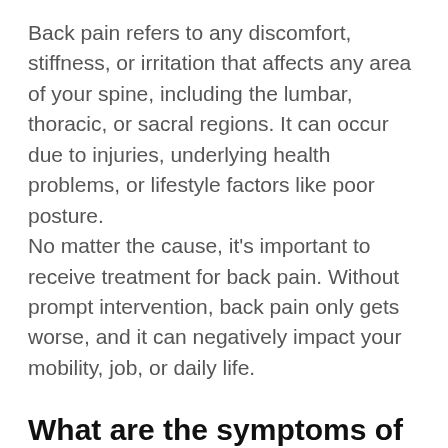Back pain refers to any discomfort, stiffness, or irritation that affects any area of your spine, including the lumbar, thoracic, or sacral regions. It can occur due to injuries, underlying health problems, or lifestyle factors like poor posture.
No matter the cause, it's important to receive treatment for back pain. Without prompt intervention, back pain only gets worse, and it can negatively impact your mobility, job, or daily life.
What are the symptoms of back pain?